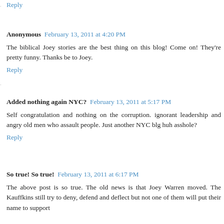Reply
Anonymous  February 13, 2011 at 4:20 PM
The biblical Joey stories are the best thing on this blog! Come on! They're pretty funny. Thanks be to Joey.
Reply
Added nothing again NYC?  February 13, 2011 at 5:17 PM
Self congratulation and nothing on the corruption. ignorant leadership and angry old men who assault people. Just another NYC blg huh asshole?
Reply
So true! So true!  February 13, 2011 at 6:17 PM
The above post is so true. The old news is that Joey Warren moved. The Kauffkins still try to deny, defend and deflect but not one of them will put their name to support